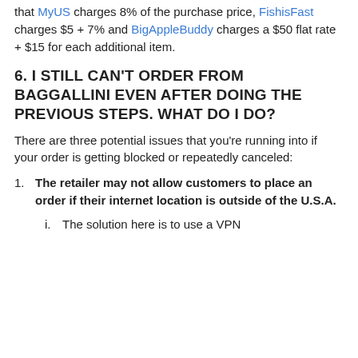that MyUS charges 8% of the purchase price, FishisFast charges $5 + 7% and BigAppleBuddy charges a $50 flat rate + $15 for each additional item.
6. I STILL CAN'T ORDER FROM BAGGALLINI EVEN AFTER DOING THE PREVIOUS STEPS. WHAT DO I DO?
There are three potential issues that you're running into if your order is getting blocked or repeatedly canceled:
The retailer may not allow customers to place an order if their internet location is outside of the U.S.A.
i. The solution here is to use a VPN